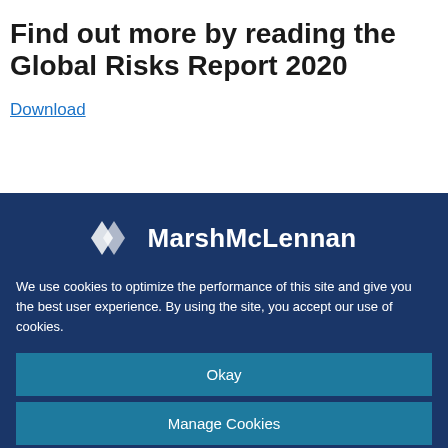Find out more by reading the Global Risks Report 2020
Download
[Figure (logo): MarshMcLennan logo with stylized double-chevron icon on dark blue background]
We use cookies to optimize the performance of this site and give you the best user experience. By using the site, you accept our use of cookies.
Okay
Manage Cookies